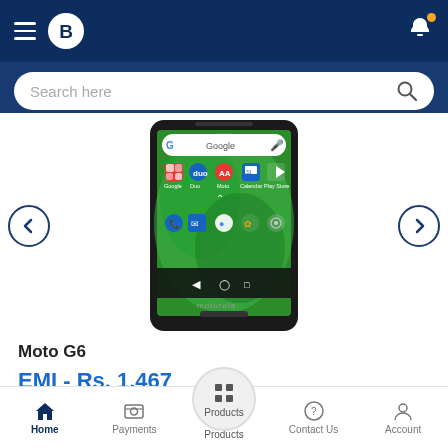[Figure (screenshot): Mobile app navigation bar with hamburger menu, B brand logo circle, and notification bell with orange dot]
[Figure (screenshot): Search bar with placeholder text 'Search here' and search icon]
[Figure (photo): Motorola Moto G6 smartphone showing Android home screen with Google search bar, app icons on green gradient background]
Moto G6
EMI - Rs. 1,467
View features
[Figure (screenshot): Bottom navigation bar with Home (active), Payments, Products (selected circle), Contact Us, Account icons]